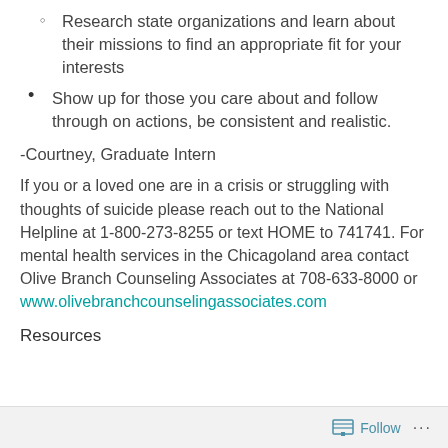Research state organizations and learn about their missions to find an appropriate fit for your interests
Show up for those you care about and follow through on actions, be consistent and realistic.
-Courtney, Graduate Intern
If you or a loved one are in a crisis or struggling with thoughts of suicide please reach out to the National Helpline at 1-800-273-8255 or text HOME to 741741. For mental health services in the Chicagoland area contact Olive Branch Counseling Associates at 708-633-8000 or www.olivebranchcounselingassociates.com
Resources
Follow